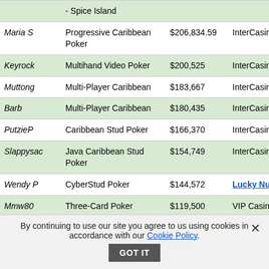| Name | Game | Amount | Casino |
| --- | --- | --- | --- |
|  | - Spice Island |  |  |
| Maria S | Progressive Caribbean Poker | $206,834.59 | InterCasino |
| Keyrock | Multihand Video Poker | $200,525 | InterCasino |
| Muttong | Multi-Player Caribbean | $183,667 | InterCasino |
| Barb | Multi-Player Caribbean | $180,435 | InterCasino |
| PutzieP | Caribbean Stud Poker | $166,370 | InterCasino |
| Slappysac | Java Caribbean Stud Poker | $154,749 | InterCasino |
| Wendy P | CyberStud Poker | $144,572 | Lucky Nugget [see review] |
| Mmw80 | Three-Card Poker | $119,500 | VIP Casino |
By continuing to use our site you agree to us using cookies in accordance with our Cookie Policy.